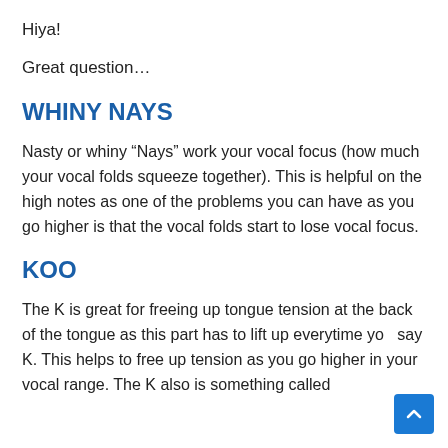Hiya!
Great question…
WHINY NAYS
Nasty or whiny “Nays” work your vocal focus (how much your vocal folds squeeze together). This is helpful on the high notes as one of the problems you can have as you go higher is that the vocal folds start to lose vocal focus.
KOO
The K is great for freeing up tongue tension at the back of the tongue as this part has to lift up everytime you say K. This helps to free up tension as you go higher in your vocal range. The K also is something called